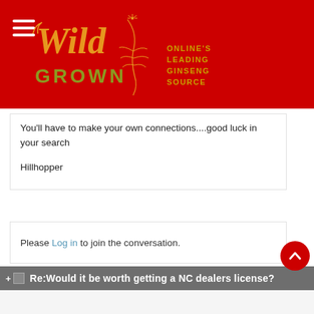[Figure (logo): Wild Grown ginseng website logo on red background with hamburger menu icon, stylized cursive 'Wild Grown' text, ginseng root illustration, and tagline 'ONLINE'S LEADING GINSENG SOURCE']
You'll have to make your own connections....good luck in your search

Hillhopper
Please Log in to join the conversation.
Re:Would it be worth getting a NC dealers license?